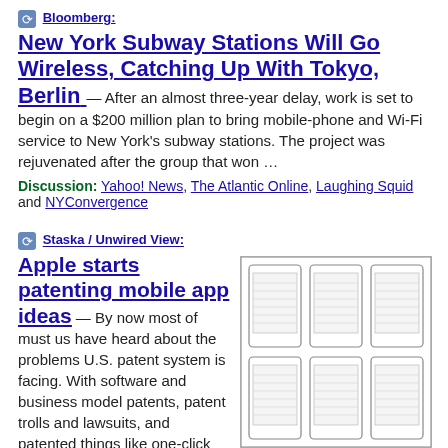Bloomberg:
New York Subway Stations Will Go Wireless, Catching Up With Tokyo, Berlin
After an almost three-year delay, work is set to begin on a $200 million plan to bring mobile-phone and Wi-Fi service to New York's subway stations.  The project was rejuvenated after the group that won …
Discussion:  Yahoo! News, The Atlantic Online, Laughing Squid and NYConvergence
Staska / Unwired View:
Apple starts patenting mobile app ideas
[Figure (screenshot): Grid of mobile phone wireframe/patent diagrams showing app interface mockups, arranged in a 3x2 grid]
By now most of must us have heard about the problems U.S. patent system is facing.  With software and business model patents, patent trolls and lawsuits, and patented things like one-click buying online.  — Well, if Apple has it's way,